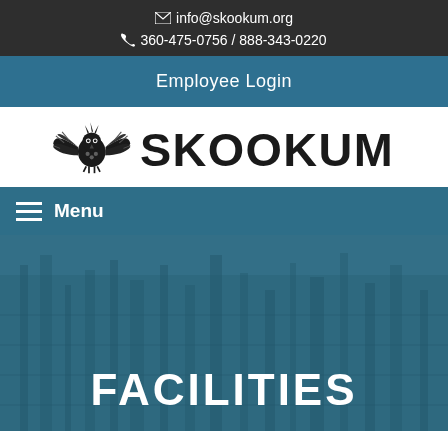✉ info@skookum.org
☎ 360-475-0756 / 888-343-0220
Employee Login
[Figure (logo): Skookum logo with stylized Native American totem bird/eagle with spread wings on the left and bold text SKOOKUM on the right, all in dark/black on white background]
≡ Menu
[Figure (photo): Background photo of a building/facility with teal-blue overlay tint]
FACILITIES